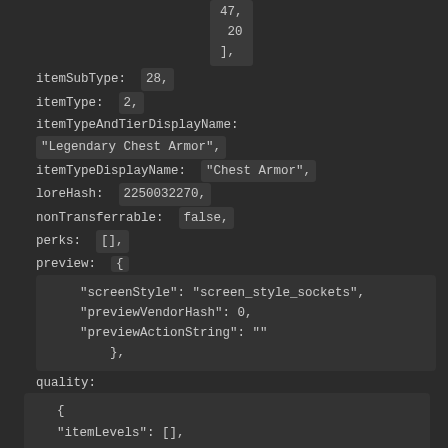[Figure (screenshot): Code/JSON viewer screenshot showing properties: itemSubType, itemType, itemTypeAndTierDisplayName, itemTypeDisplayName, loreHash, nonTransferrable, perks, preview (with screenStyle, previewVendorHash, previewActionString), quality (with itemLevels, qualityLevel, infusionCategoryName, infusionCategoryHash, infusionCategoryHashes)]